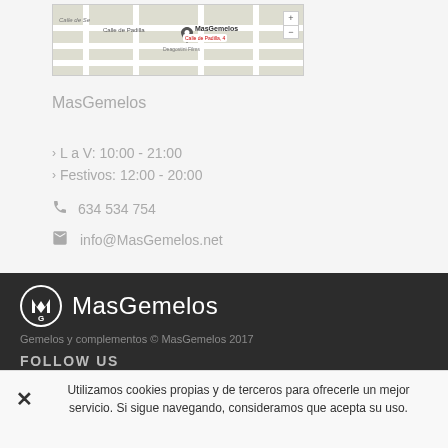[Figure (map): Google Maps screenshot showing location of MasGemelos at Calle de Padilla, 4]
MasGemelos
› L a V: 10:00 - 21:00
› Festivos: 12:00 - 20:00
634 534 754
info@MasGemelos.net
[Figure (logo): MasGemelos logo: circular icon with M and G letters, white on dark background, with brand name MasGemelos]
Gemelos y complementos © MasGemelos 2017
FOLLOW US
Utilizamos cookies propias y de terceros para ofrecerle un mejor servicio. Si sigue navegando, consideramos que acepta su uso.